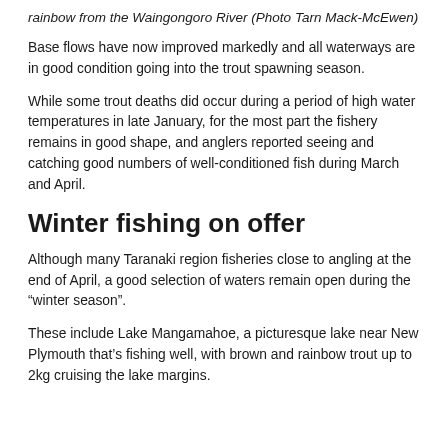rainbow from the Waingongoro River (Photo Tarn Mack-McEwen)
Base flows have now improved markedly and all waterways are in good condition going into the trout spawning season.
While some trout deaths did occur during a period of high water temperatures in late January, for the most part the fishery remains in good shape,  and anglers reported seeing and catching good numbers of well-conditioned fish during March and April.
Winter fishing on offer
Although many Taranaki region fisheries close to angling at the end of April, a good selection of waters remain open during the “winter season”.
These include Lake Mangamahoe, a picturesque lake near New Plymouth that’s fishing well, with brown and rainbow trout up to 2kg cruising the lake margins.